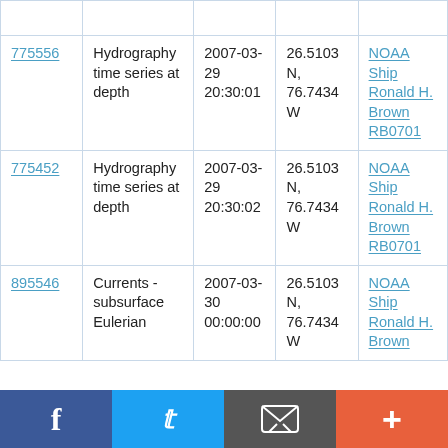| ID | Type | Date | Location | Platform |
| --- | --- | --- | --- | --- |
| 775556 | Hydrography time series at depth | 2007-03-29 20:30:01 | 26.5103 N, 76.7434 W | NOAA Ship Ronald H. Brown RB0701 |
| 775452 | Hydrography time series at depth | 2007-03-29 20:30:02 | 26.5103 N, 76.7434 W | NOAA Ship Ronald H. Brown RB0701 |
| 895546 | Currents - subsurface Eulerian | 2007-03-30 00:00:00 | 26.5103 N, 76.7434 W | NOAA Ship Ronald H. Brown |